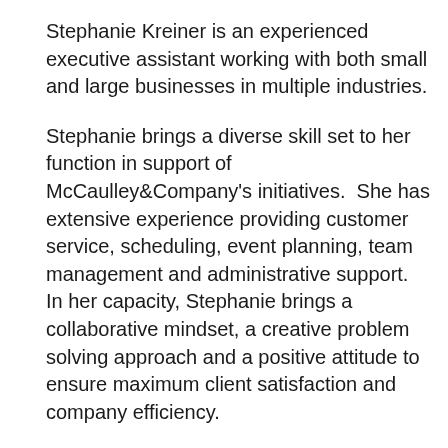Stephanie Kreiner is an experienced executive assistant working with both small and large businesses in multiple industries.
Stephanie brings a diverse skill set to her function in support of McCaulley&Company's initiatives. She has extensive experience providing customer service, scheduling, event planning, team management and administrative support. In her capacity, Stephanie brings a collaborative mindset, a creative problem solving approach and a positive attitude to ensure maximum client satisfaction and company efficiency.
In addition to her time at McCaulley&Company, Stephanie has been working full-time for a sports and entertainment company for 16 years